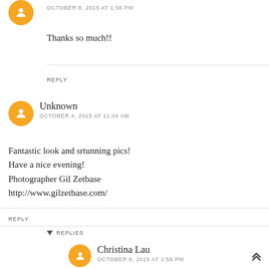OCTOBER 8, 2015 AT 1:56 PM
Thanks so much!!
REPLY
Unknown
OCTOBER 4, 2015 AT 11:04 AM
Fantastic look and srtunning pics!
Have a nice evening!
Photographer Gil Zetbase
http://www.gilzetbase.com/
REPLY
REPLIES
Christina Lau
OCTOBER 8, 2015 AT 1:56 PM